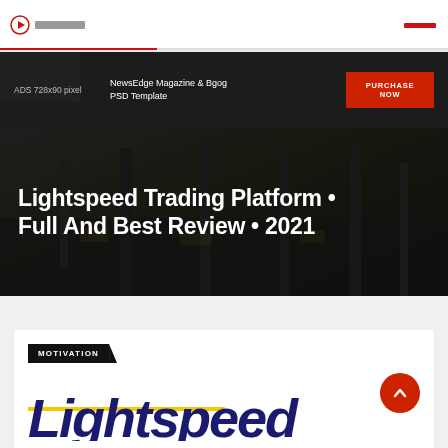[Figure (screenshot): Ad banner: ADS 728x90 pixel | NewsEdge Magazine & Bgog PSD Template | PURCHASE NOW button]
Lightspeed Trading Platform • Full And Best Review • 2021
[Figure (logo): Lightspeed logo in dark blue italic bold font with yellow accent stripe]
MOTIVATION